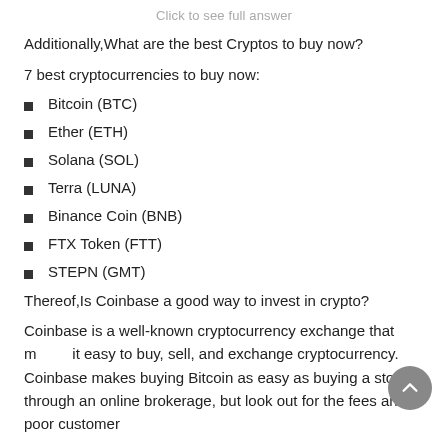Click to see full answer
Additionally,What are the best Cryptos to buy now?
7 best cryptocurrencies to buy now:
Bitcoin (BTC)
Ether (ETH)
Solana (SOL)
Terra (LUNA)
Binance Coin (BNB)
FTX Token (FTT)
STEPN (GMT)
Thereof,Is Coinbase a good way to invest in crypto?
Coinbase is a well-known cryptocurrency exchange that makes it easy to buy, sell, and exchange cryptocurrency. Coinbase makes buying Bitcoin as easy as buying a stock through an online brokerage, but look out for the fees and poor customer